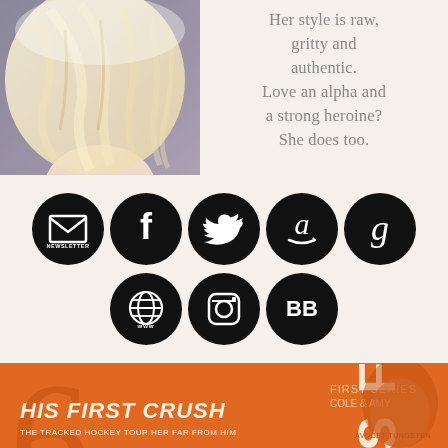[Figure (photo): Close-up photo of a blonde woman with tousled hair against a dark background, shown from the forehead down, vintage/filtered style]
Her style is raw, gritty and authentic. Love an alpha and a strong heroine? She does too.
[Figure (infographic): Row of 5 black social media icon circles: Newsletter (envelope), Facebook (f), Twitter (bird), Amazon (a with arrow), Goodreads (g). Second row of 3 black circles: Website (www globe), Instagram (camera), BookBub (BB)]
[Figure (photo): Orange book cover banner for 'His First Crush' - hockey romance. Shows a shirtless male torso on the right, orange background with title text on left]